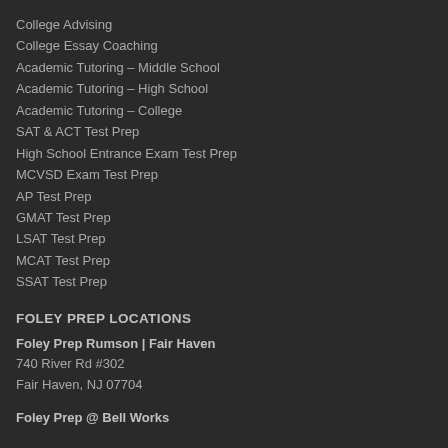College Advising
College Essay Coaching
Academic Tutoring – Middle School
Academic Tutoring – High School
Academic Tutoring – College
SAT & ACT Test Prep
High School Entrance Exam Test Prep
MCVSD Exam Test Prep
AP Test Prep
GMAT Test Prep
LSAT Test Prep
MCAT Test Prep
SSAT Test Prep
FOLEY PREP LOCATIONS
Foley Prep Rumson | Fair Haven
740 River Rd #302
Fair Haven, NJ 07704
Foley Prep @ Bell Works